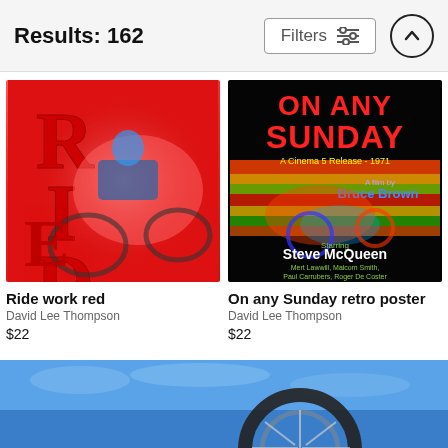Results: 162
[Figure (screenshot): E-commerce search results page showing motocross art prints. Header shows 'Results: 162' with a Filters button and an up-arrow scroll button. Two product thumbnails shown: 'Ride work red' poster and 'On any Sunday retro poster', both by David Lee Thompson, each priced at $22. A third product is partially visible at the bottom.]
Ride work red
David Lee Thompson
$22
On any Sunday retro poster
David Lee Thompson
$22